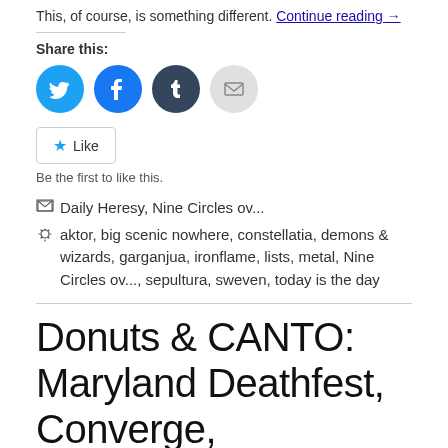This, of course, is something different. Continue reading →
Share this:
[Figure (other): Social sharing icons: Twitter (blue circle), Facebook (blue circle), Tumblr (dark circle), Email (gray circle)]
Like
Be the first to like this.
Daily Heresy, Nine Circles ov...
aktor, big scenic nowhere, constellatia, demons & wizards, garganjua, ironflame, lists, metal, Nine Circles ov..., sepultura, sweven, today is the day
Donuts & CANTO: Maryland Deathfest, Converge,